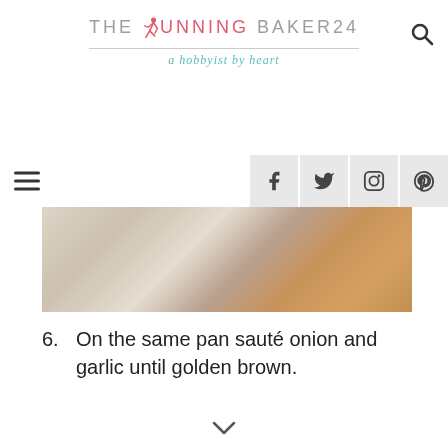[Figure (logo): The Running Baker 24 blog logo with a runner silhouette icon and tagline 'a hobbyist by heart']
[Figure (photo): Partial food photo showing baked goods on a light surface, cropped at top]
6. On the same pan sauté onion and garlic until golden brown.